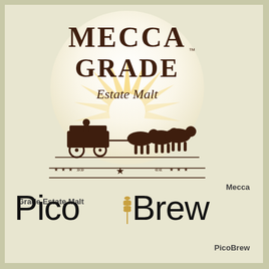[Figure (logo): Mecca Grade Estate Malt circular logo with decorative text and horse-drawn wagon illustration, with star and chevron banner beneath]
Mecca
Grade Estate Malt
[Figure (logo): PicoBrew logo in large black sans-serif text with a wheat/grain icon between Pico and Brew]
PicoBrew